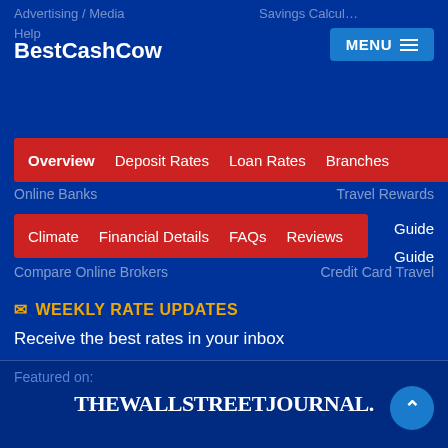BestCashCow
Banks
Credit Cards
Overview | Deposit Rates | Loan Rates | Branches
Online Banks | Travel Rewards
Climate | Financial Details | FAQs | Reviews | Guide | Guide
Compare Online Brokers | Credit Card Travel Guide
WEEKLY RATE UPDATES
Receive the best rates in your inbox
@your email address
Featured on:
THEWALLSTREETJOURNAL.